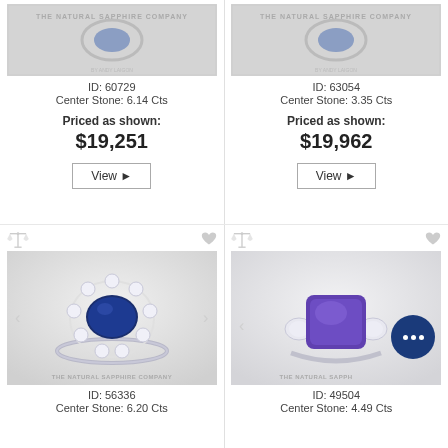[Figure (photo): Sapphire ring product image with THE NATURAL SAPPHIRE COMPANY watermark - top left]
ID: 60729
Center Stone: 6.14 Cts
Priced as shown:
$19,251
View ▶
[Figure (photo): Sapphire ring product image with THE NATURAL SAPPHIRE COMPANY watermark - top right]
ID: 63054
Center Stone: 3.35 Cts
Priced as shown:
$19,962
View ▶
[Figure (photo): Blue sapphire oval halo diamond ring with THE NATURAL SAPPHIRE COMPANY watermark - bottom left]
ID: 56336
Center Stone: 6.20 Cts
[Figure (photo): Violet/purple sapphire three-stone diamond ring with THE NATURAL SAPPHIRE COMPANY watermark, chat bubble overlay - bottom right]
ID: 49504
Center Stone: 4.49 Cts